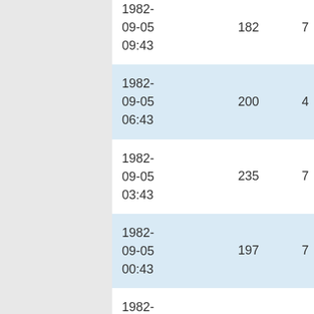| 1982-09-05 09:43 | 182 | 7 | 4 | 17 |
| 1982-09-05 06:43 | 200 | 4 | 5 | 23 |
| 1982-09-05 03:43 | 235 | 7 | 6 | 16 |
| 1982-09-05 00:43 | 197 | 7 | 4 | 29 |
| 1982-09-04 21:43 | 150 | 4 | 4 | 20 |
| 1982-09-04 18:43 | 132 | 4 | 2 | 26 |